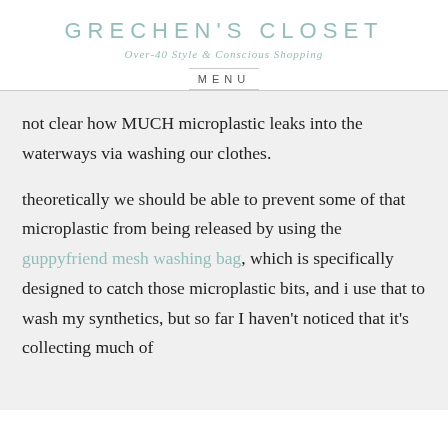GRECHEN'S CLOSET
Over-40 Style & Conscious Shopping
MENU
not clear how MUCH microplastic leaks into the waterways via washing our clothes.
theoretically we should be able to prevent some of that microplastic from being released by using the guppyfriend mesh washing bag, which is specifically designed to catch those microplastic bits, and i use that to wash my synthetics, but so far I haven't noticed that it's collecting much of